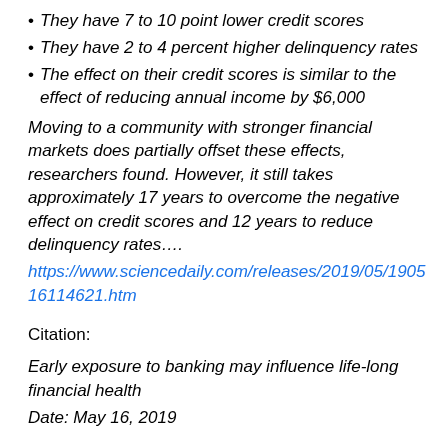They have 7 to 10 point lower credit scores
They have 2 to 4 percent higher delinquency rates
The effect on their credit scores is similar to the effect of reducing annual income by $6,000
Moving to a community with stronger financial markets does partially offset these effects, researchers found. However, it still takes approximately 17 years to overcome the negative effect on credit scores and 12 years to reduce delinquency rates....
https://www.sciencedaily.com/releases/2019/05/190516114621.htm
Citation:
Early exposure to banking may influence life-long financial health
Date: May 16, 2019